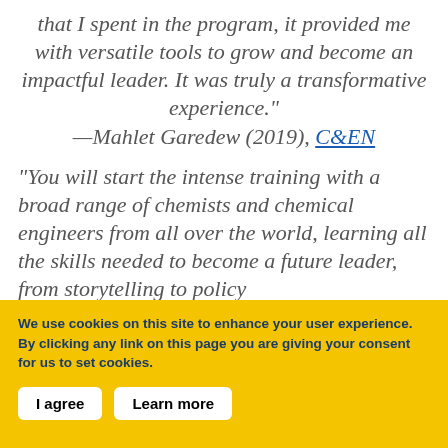that I spent in the program, it provided me with versatile tools to grow and become an impactful leader. It was truly a transformative experience." —Mahlet Garedew (2019), C&EN
"You will start the intense training with a broad range of chemists and chemical engineers from all over the world, learning all the skills needed to become a future leader, from storytelling to policy
We use cookies on this site to enhance your user experience. By clicking any link on this page you are giving your consent for us to set cookies.